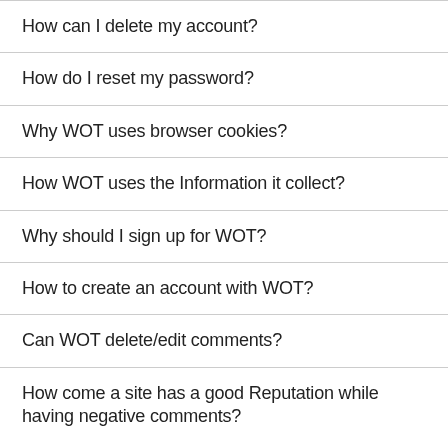How can I delete my account?
How do I reset my password?
Why WOT uses browser cookies?
How WOT uses the Information it collect?
Why should I sign up for WOT?
How to create an account with WOT?
Can WOT delete/edit comments?
How come a site has a good Reputation while having negative comments?